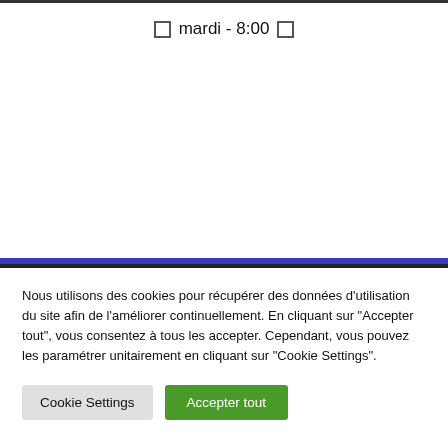mardi - 8:00
Nous utilisons des cookies pour récupérer des données d'utilisation du site afin de l'améliorer continuellement. En cliquant sur "Accepter tout", vous consentez à tous les accepter. Cependant, vous pouvez les paramétrer unitairement en cliquant sur "Cookie Settings".
Cookie Settings
Accepter tout